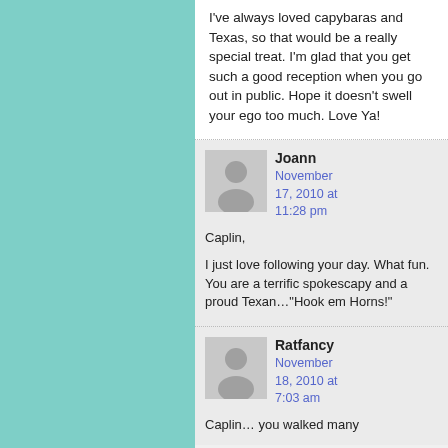I've always loved capybaras and Texas, so that would be a really special treat. I'm glad that you get such a good reception when you go out in public. Hope it doesn't swell your ego too much. Love Ya!
Joann
November 17, 2010 at 11:28 pm
Caplin,

I just love following your day. What fun. You are a terrific spokescapy and a proud Texan…"Hook em Horns!"
Ratfancy
November 18, 2010 at 7:03 am
Caplin… you walked many